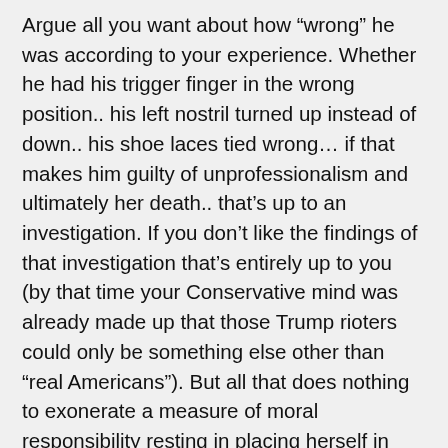Argue all you want about how “wrong” he was according to your experience. Whether he had his trigger finger in the wrong position.. his left nostril turned up instead of down.. his shoe laces tied wrong… if that makes him guilty of unprofessionalism and ultimately her death.. that’s up to an investigation. If you don’t like the findings of that investigation that’s entirely up to you (by that time your Conservative mind was already made up that those Trump rioters could only be something else other than “real Americans”). But all that does nothing to exonerate a measure of moral responsibility resting in placing herself in that kind of situation. Add to that.. her